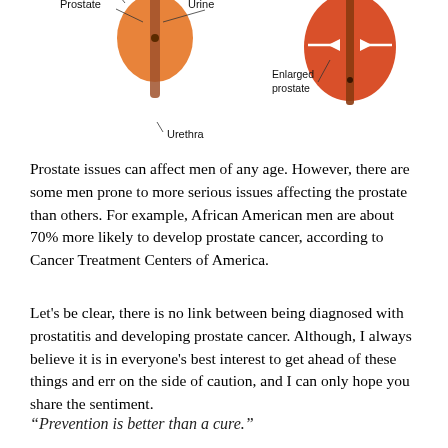[Figure (illustration): Medical illustration showing two cross-sectional diagrams of the prostate. Left diagram shows a normal prostate with labels: Prostate, Urine, Urethra. Right diagram shows an enlarged prostate with label: Enlarged prostate, and arrows indicating compression.]
Prostate issues can affect men of any age. However, there are some men prone to more serious issues affecting the prostate than others. For example, African American men are about 70% more likely to develop prostate cancer, according to Cancer Treatment Centers of America.
Let's be clear, there is no link between being diagnosed with prostatitis and developing prostate cancer. Although, I always believe it is in everyone's best interest to get ahead of these things and err on the side of caution, and I can only hope you share the sentiment.
“Prevention is better than a cure.”